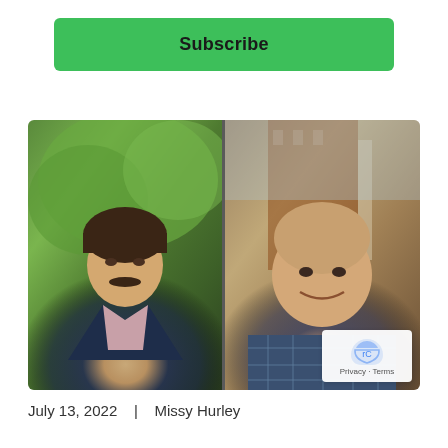Subscribe
[Figure (photo): Two men photographed side by side split photo. Left: man with dark hair and mustache wearing navy blazer and pink shirt, outdoors with green trees behind. Right: bald man smiling wearing blue plaid shirt, outdoors near brick building.]
July 13, 2022   |   Missy Hurley